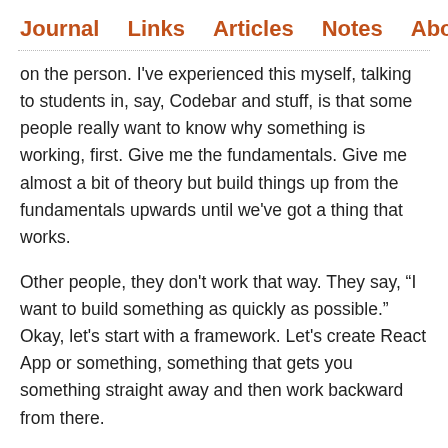Journal  Links  Articles  Notes  About
on the person. I've experienced this myself, talking to students in, say, Codebar and stuff, is that some people really want to know why something is working, first. Give me the fundamentals. Give me almost a bit of theory but build things up from the fundamentals upwards until we've got a thing that works.
Other people, they don't work that way. They say, “I want to build something as quickly as possible.” Okay, let's start with a framework. Let's create React App or something, something that gets you something straight away and then work backward from there.
I say, “Okay, but what's actually going on here? Why does this work? What's happening under the hood?”
There are two different ways of learning there. Neither is right